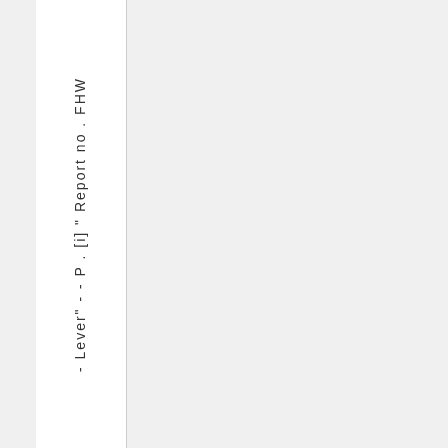- Lever" - - P . [i] " Report no . FHW